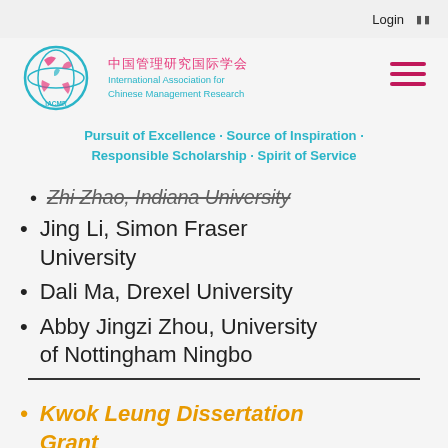Login
[Figure (logo): IACMR logo: circle with globe-like figure, Chinese text '中国管理研究国际学会' in red/pink, English text 'International Association for Chinese Management Research' in teal]
Pursuit of Excellence · Source of Inspiration · Responsible Scholarship · Spirit of Service
Zhi Zhao, Indiana University
Jing Li, Simon Fraser University
Dali Ma, Drexel University
Abby Jingzi Zhou, University of Nottingham Ningbo
Kwok Leung Dissertation Grant